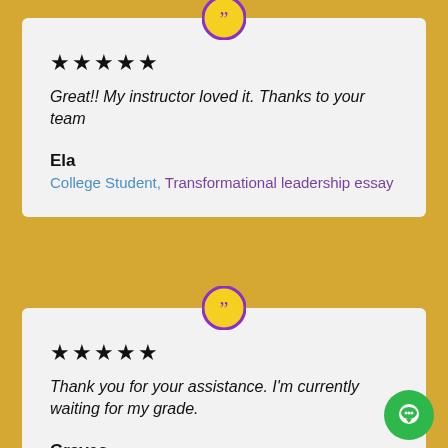[Figure (illustration): Yellow circle with purple border containing double closing quotation mark icon — review card 1 header]
★★★★★
Great!! My instructor loved it. Thanks to your team
Ela
College Student, Transformational leadership essay
[Figure (illustration): Yellow circle with purple border containing double closing quotation mark icon — review card 2 header]
★★★★★
Thank you for your assistance. I'm currently waiting for my grade.
Graves
College Student, Internal competitiveness research paper